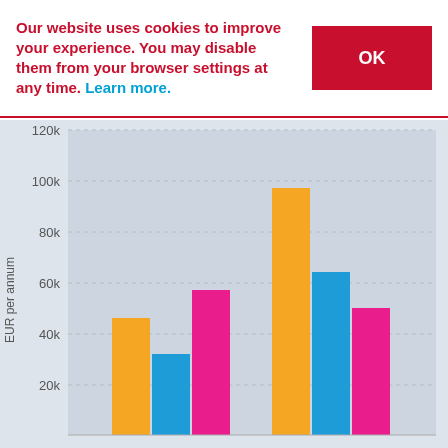Our website uses cookies to improve your experience. You may disable them from your browser settings at any time. Learn more.
[Figure (grouped-bar-chart): ]